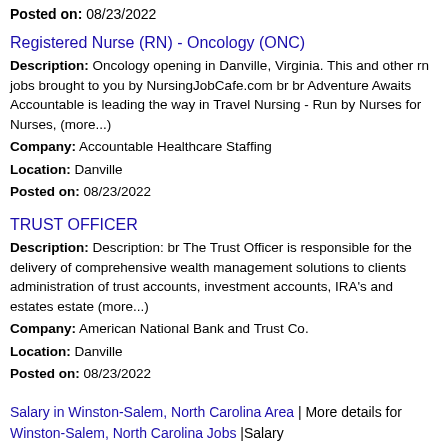Posted on: 08/23/2022
Registered Nurse (RN) - Oncology (ONC)
Description: Oncology opening in Danville, Virginia. This and other rn jobs brought to you by NursingJobCafe.com br br Adventure Awaits Accountable is leading the way in Travel Nursing - Run by Nurses for Nurses, (more...)
Company: Accountable Healthcare Staffing
Location: Danville
Posted on: 08/23/2022
TRUST OFFICER
Description: Description: br The Trust Officer is responsible for the delivery of comprehensive wealth management solutions to clients administration of trust accounts, investment accounts, IRA's and estates estate (more...)
Company: American National Bank and Trust Co.
Location: Danville
Posted on: 08/23/2022
Salary in Winston-Salem, North Carolina Area | More details for Winston-Salem, North Carolina Jobs |Salary